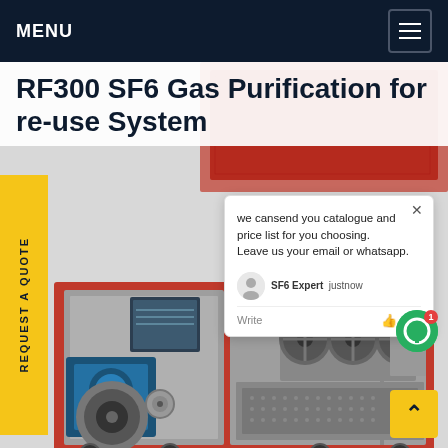MENU
RF300 SF6 Gas Purification for re-use System
[Figure (photo): RF300 SF6 Gas Purification for re-use System — industrial machine with red frame, gray cabinet, blue compressor motor, touch screen panel, three cooling fans, and cable reel, mounted on wheels.]
REQUEST A QUOTE
we cansend you catalogue and price list for you choosing. Leave us your email or whatsapp.
SF6 Expert   justnow
Write